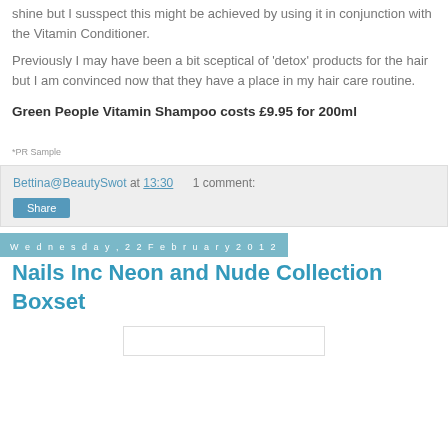shine but I susspect this might be achieved by using it in conjunction with the Vitamin Conditioner.
Previously I may have been a bit sceptical of 'detox' products for the hair but I am convinced now that they have a place in my hair care routine.
Green People Vitamin Shampoo costs £9.95 for 200ml
*PR Sample
Bettina@BeautySwot at 13:30    1 comment:
Share
Wednesday, 22 February 2012
Nails Inc Neon and Nude Collection Boxset